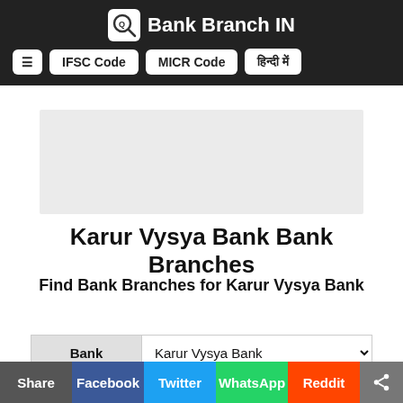Bank Branch IN — IFSC Code | MICR Code | हिन्दी में
[Figure (other): Advertisement placeholder box (gray rectangle)]
Karur Vysya Bank Bank Branches
Find Bank Branches for Karur Vysya Bank
|  |  |
| --- | --- |
| Bank | Karur Vysya Bank |
| State | Please Select a State |
Share | Facebook | Twitter | WhatsApp | Reddit